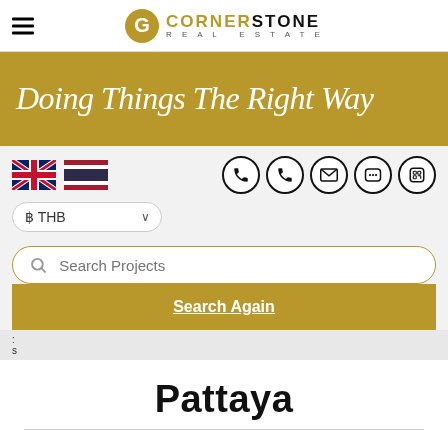Cornerstone Real Estate
Doing Things The Right Way
[Figure (screenshot): Language flags (UK and Thailand), contact icon buttons (phone, phone, email, LINE, WhatsApp), currency selector (฿ THB), search box (Search Projects), Search Again button, and Pattaya city heading]
Pattaya